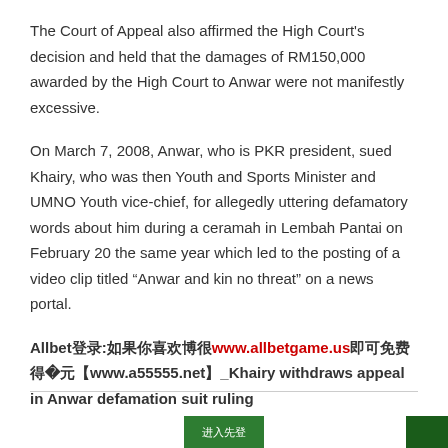The Court of Appeal also affirmed the High Court's decision and held that the damages of RM150,000 awarded by the High Court to Anwar were not manifestly excessive.
On March 7, 2008, Anwar, who is PKR president, sued Khairy, who was then Youth and Sports Minister and UMNO Youth vice-chief, for allegedly uttering defamatory words about him during a ceramah in Lembah Pantai on February 20 the same year which led to the posting of a video clip titled “Anwar and kin no threat” on a news portal.
Allbet登录:如果你喜欢博很www.allbetgame.us即可免费得到50元【www.a55555.net】_Khairy withdraws appeal in Anwar defamation suit ruling